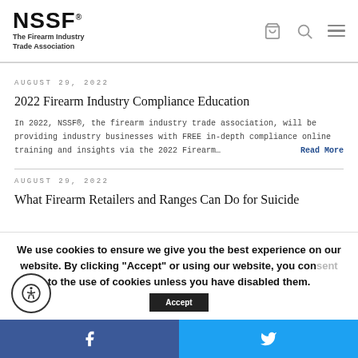NSSF – The Firearm Industry Trade Association
AUGUST 29, 2022
2022 Firearm Industry Compliance Education
In 2022, NSSF®, the firearm industry trade association, will be providing industry businesses with FREE in-depth compliance online training and insights via the 2022 Firearm… Read More
AUGUST 29, 2022
What Firearm Retailers and Ranges Can Do for Suicide
We use cookies to ensure we give you the best experience on our website. By clicking "Accept" or using our website, you consent to the use of cookies unless you have disabled them.
Facebook | Twitter social share bar